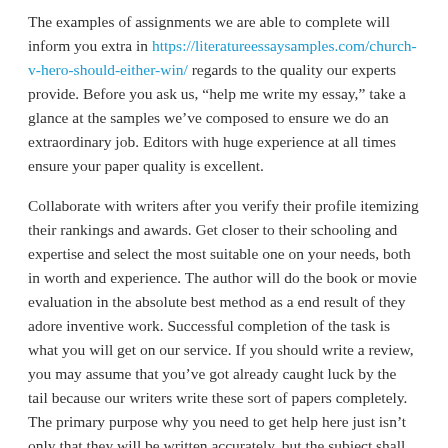The examples of assignments we are able to complete will inform you extra in https://literatureessaysamples.com/church-v-hero-should-either-win/ regards to the quality our experts provide. Before you ask us, “help me write my essay,” take a glance at the samples we’ve composed to ensure we do an extraordinary job. Editors with huge experience at all times ensure your paper quality is excellent.
Collaborate with writers after you verify their profile itemizing their rankings and awards. Get closer to their schooling and expertise and select the most suitable one on your needs, both in worth and experience. The author will do the book or movie evaluation in the absolute best method as a end result of they adore inventive work. Successful completion of the task is what you will get on our service. If you should write a review, you may assume that you’ve got already caught luck by the tail because our writers write these sort of papers completely. The primary purpose why you need to get help here just isn’t only that they will be written accurately, but the subject shall be well researched by the writer.
This is why we urge you to trust IsEssay.com as a result of we came with a low worth however guarantee you high quality